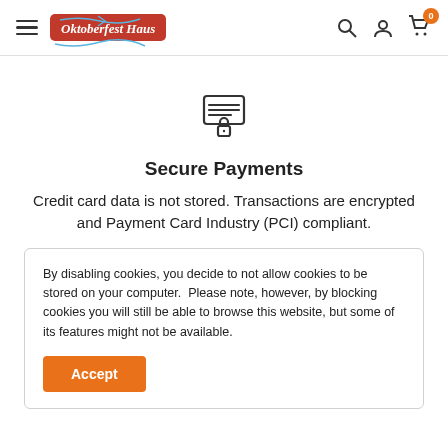Oktoberfest Haus — navigation header with hamburger menu, logo, search, account, and cart icons
[Figure (illustration): Secure payment icon: a card reader/terminal with horizontal lines and a padlock at the bottom, rendered as a line icon]
Secure Payments
Credit card data is not stored. Transactions are encrypted and Payment Card Industry (PCI) compliant.
By disabling cookies, you decide to not allow cookies to be stored on your computer.  Please note, however, by blocking cookies you will still be able to browse this website, but some of its features might not be available.
Accept